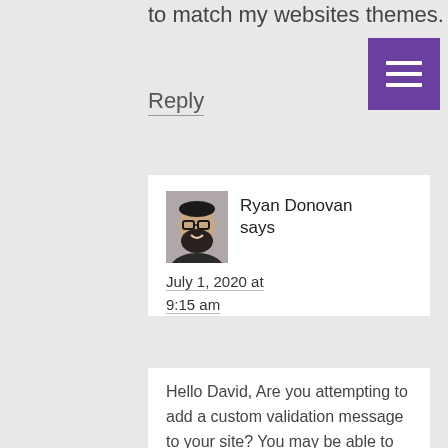to match my websites themes.
Reply
[Figure (other): Purple hamburger/menu button icon with three white horizontal lines on purple background]
[Figure (photo): Profile photo of Ryan Donovan, a bearded man with glasses, smiling]
Ryan Donovan says
July 1, 2020 at 9:15 am
Hello David, Are you attempting to add a custom validation message to your site? You may be able to alter this with the gform_validation_message hook. As for customizing